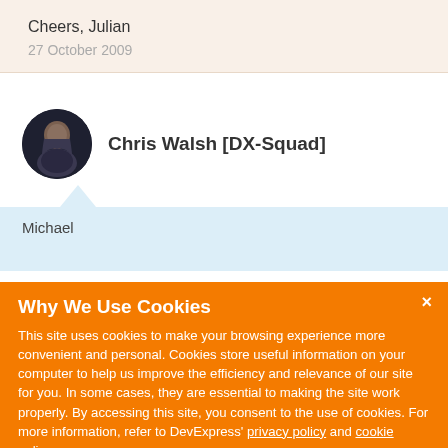Cheers, Julian
27 October 2009
Chris Walsh [DX-Squad]
Michael
Why We Use Cookies
This site uses cookies to make your browsing experience more convenient and personal. Cookies store useful information on your computer to help us improve the efficiency and relevance of our site for you. In some cases, they are essential to making the site work properly. By accessing this site, you consent to the use of cookies. For more information, refer to DevExpress' privacy policy and cookie policy.
I UNDERSTAND